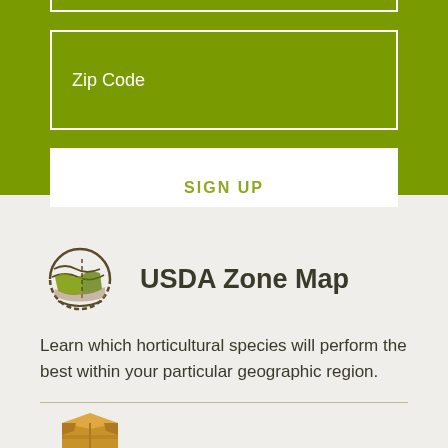Zip Code
SIGN UP
USDA Zone Map
Learn which horticultural species will perform the best within your particular geographic region.
[Figure (illustration): Icon of a topographic/zone map with dashed lines and green shading, enclosed in a circular border]
[Figure (illustration): Partial icon of a box/shipping crate at bottom of page]